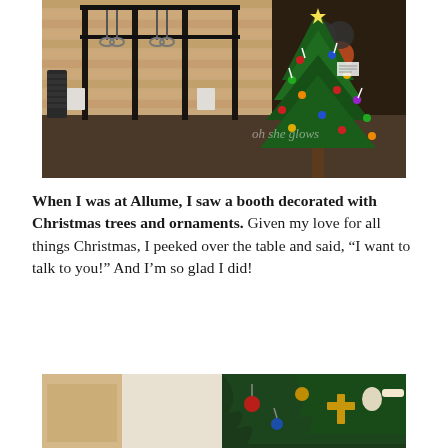[Figure (photo): Interior of a gym/CrossFit box with rubber flooring, pull-up rigs, weight equipment, and a decorated Christmas tree with colorful ornaments in the foreground right.]
When I was at Allume, I saw a booth decorated with Christmas trees and ornaments. Given my love for all things Christmas, I peeked over the table and said, “I want to talk to you!” And I’m so glad I did!
[Figure (photo): Close-up of a Christmas tree with ornaments including a cross-shaped ornament and hands of a person handling the decorations.]